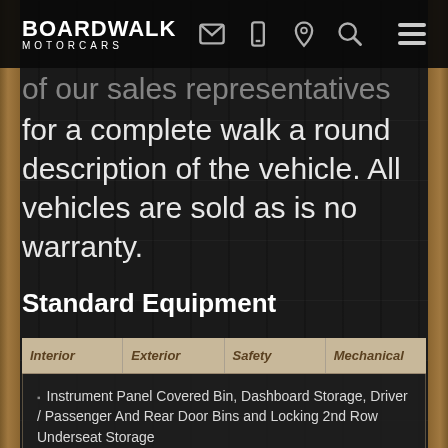BOARDWALK MOTORCARS
of our sales representatives for a complete walk a round description of the vehicle. All vehicles are sold as is no warranty.
Standard Equipment
| Interior | Exterior | Safety | Mechanical |
| --- | --- | --- | --- |
| • Instrument Panel Covered Bin, Dashboard Storage, Driver / Passenger And Rear Door Bins and Locking 2nd Row Underseat Storage |  |  |  |